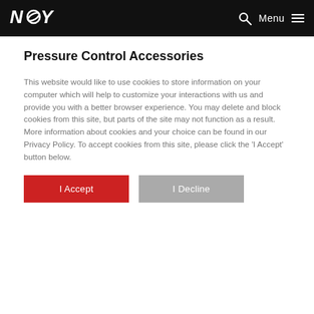NOY — navigation bar with search and menu
Pressure Control Accessories
This website would like to use cookies to store information on your computer which will help to customize your interactions with us and provide you with a better browser experience. You may delete and block cookies from this site, but parts of the site may not function as a result. More information about cookies and your choice can be found in our Privacy Policy. To accept cookies from this site, please click the 'I Accept' button below.
I Accept
I Decline